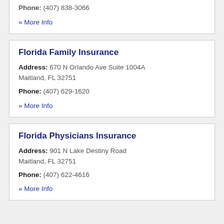Phone: (407) 838-3066
» More Info
Florida Family Insurance
Address: 670 N Orlando Ave Suite 1004A Maitland, FL 32751
Phone: (407) 629-1620
» More Info
Florida Physicians Insurance
Address: 901 N Lake Destiny Road Maitland, FL 32751
Phone: (407) 622-4616
» More Info